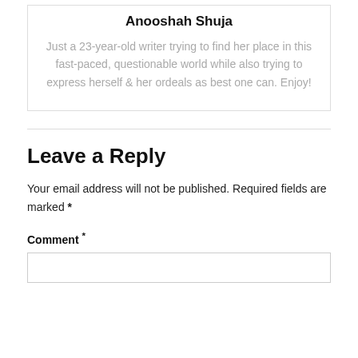Anooshah Shuja
Just a 23-year-old writer trying to find her place in this fast-paced, questionable world while also trying to express herself & her ordeals as best one can. Enjoy!
Leave a Reply
Your email address will not be published. Required fields are marked *
Comment *